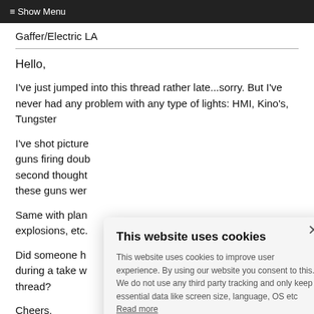≡ Show Menu
Gaffer/Electric LA
Hello,
I've just jumped into this thread rather late...sorry. But I've never had any problem with any type of lights: HMI, Kino's, Tungster... fi
I've shot pictures with guns firing dou... second thought... these guns wer...
Same with plan... explosions, etc.
Did someone h... during a take w... thread?
Cheers,
This website uses cookies

This website uses cookies to improve user experience. By using our website you consent to this. We do not use any third party tracking and only keep essential data like screen size, language, OS etc Read more

ACCEPT ESSENTIAL COOKIES

DECLINE ALL COOKIE